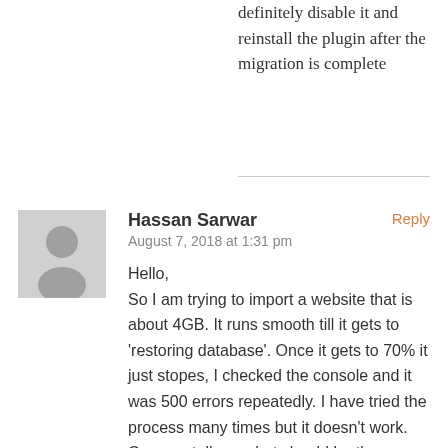definitely disable it and reinstall the plugin after the migration is complete
Hassan Sarwar
August 7, 2018 at 1:31 pm

Hello,
So I am trying to import a website that is about 4GB. It runs smooth till it gets to 'restoring database'. Once it gets to 70% it just stopes, I checked the console and it was 500 errors repeatedly. I have tried the process many times but it doesn't work. Can you tell me what should be the max execution time and other things? Also,